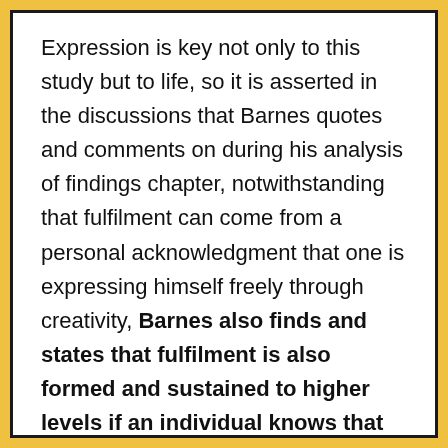Expression is key not only to this study but to life, so it is asserted in the discussions that Barnes quotes and comments on during his analysis of findings chapter, notwithstanding that fulfilment can come from a personal acknowledgment that one is expressing himself freely through creativity, Barnes also finds and states that fulfilment is also formed and sustained to higher levels if an individual knows that others are benefiting from their creativity as well.

In addition, Barnes's findings affirm that